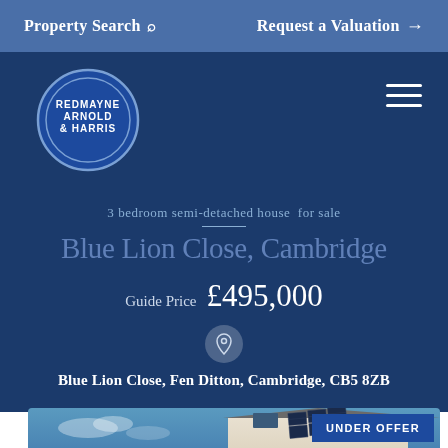Property Search   Request a Valuation →
[Figure (logo): Redmayne Arnold & Harris circular logo in blue with white text and double circle border]
3 bedroom semi-detached house for sale
Blue Lion Close, Cambridge
Guide Price  £495,000
Blue Lion Close, Fen Ditton, Cambridge, CB5 8ZB
[Figure (photo): Photograph of a semi-detached house with solar panels on the roof against a blue sky, showing the roofline and upper facade]
UNDER OFFER